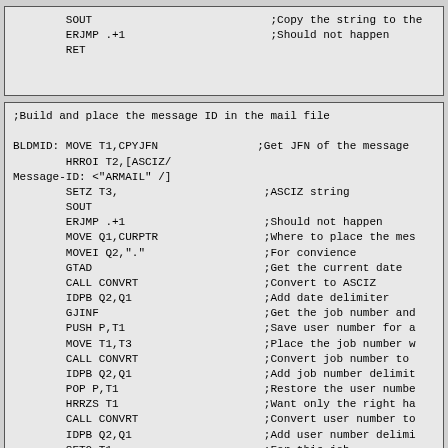[Figure (other): Assembly code snippet showing SOUT, ERJMP .+1, RET instructions with comments]
[Figure (other): Assembly code snippet for BLDMID routine building and placing message ID in mail file]